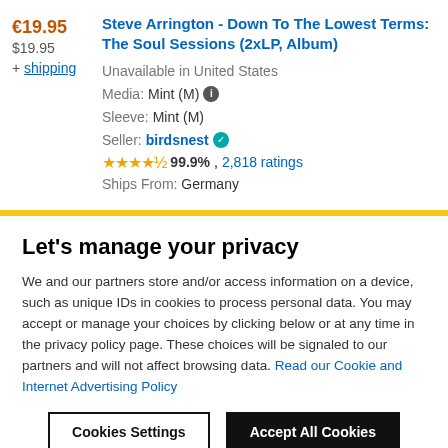€19.95
$19.95
+ shipping
Steve Arrington - Down To The Lowest Terms: The Soul Sessions (2xLP, Album)
Unavailable in United States
Media: Mint (M)
Sleeve: Mint (M)
Seller: birdsnest
99.9%, 2,818 ratings
Ships From: Germany
Let's manage your privacy
We and our partners store and/or access information on a device, such as unique IDs in cookies to process personal data. You may accept or manage your choices by clicking below or at any time in the privacy policy page. These choices will be signaled to our partners and will not affect browsing data. Read our Cookie and Internet Advertising Policy
Cookies Settings
Accept All Cookies